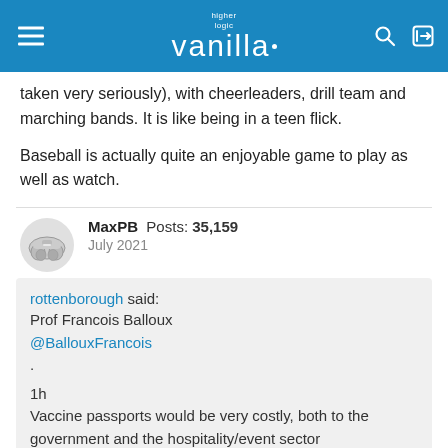higher logic vanilla
taken very seriously), with cheerleaders, drill team and marching bands. It is like being in a teen flick.
Baseball is actually quite an enjoyable game to play as well as watch.
MaxPB  Posts: 35,159  July 2021
rottenborough said:
Prof Francois Balloux
@BallouxFrancois
.
1h
Vaccine passports would be very costly, both to the government and the hospitality/event sector